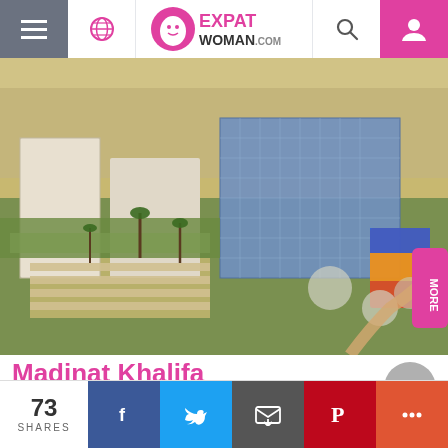ExpatWoman.com
[Figure (photo): Aerial view of Madinat Khalifa development showing large modern buildings with glass facades, landscaped grounds with palm trees, parking areas, and surrounding urban area.]
Madinat Khalifa
This is becoming a popular area with families. It is close to Landmark Mall with a Carrefour and also the new Lulu Hypermarket. It also has lots of cheap useful shops close
73 SHARES